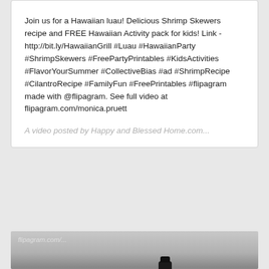Join us for a Hawaiian luau! Delicious Shrimp Skewers recipe and FREE Hawaiian Activity pack for kids! Link -http://bit.ly/HawaiianGrill #Luau #HawaiianParty #ShrimpSkewers #FreePartyPrintables #KidsActivities #FlavorYourSummer #CollectiveBias #ad #ShrimpRecipe #CilantroRecipe #FamilyFun #FreePrintables #flipagram made with @flipagram. See full video at flipagram.com/monica.pruett
A video posted by Happy and Blessed Home.com...
[Figure (photo): A partial photo showing colorful bell peppers and a dark bottle, likely a marinade or sauce, on a kitchen counter or table.]